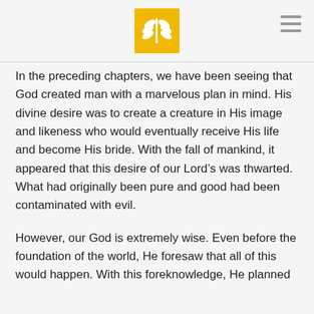[Logo: wheat/grain icon on gold background] [Hamburger menu icon]
In the preceding chapters, we have been seeing that God created man with a marvelous plan in mind. His divine desire was to create a creature in His image and likeness who would eventually receive His life and become His bride. With the fall of mankind, it appeared that this desire of our Lord’s was thwarted. What had originally been pure and good had been contaminated with evil.
However, our God is extremely wise. Even before the foundation of the world, He foresaw that all of this would happen. With this foreknowledge, He planned